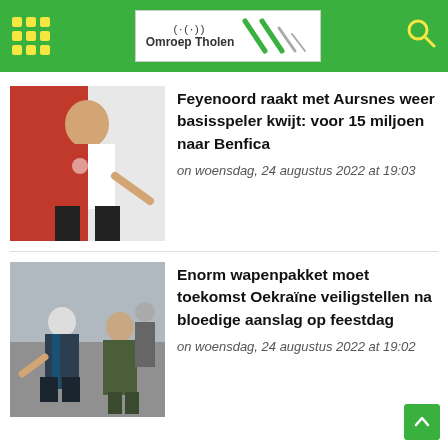Omroep Tholen
[Figure (photo): Feyenoord player in red and white jersey gesturing on the pitch]
Feyenoord raakt met Aursnes weer basisspeler kwijt: voor 15 miljoen naar Benfica
on woensdag, 24 augustus 2022 at 19:03
[Figure (photo): Boris Johnson and Zelensky walking together outdoors with security personnel]
Enorm wapenpakket moet toekomst Oekraïne veiligstellen na bloedige aanslag op feestdag
on woensdag, 24 augustus 2022 at 19:02